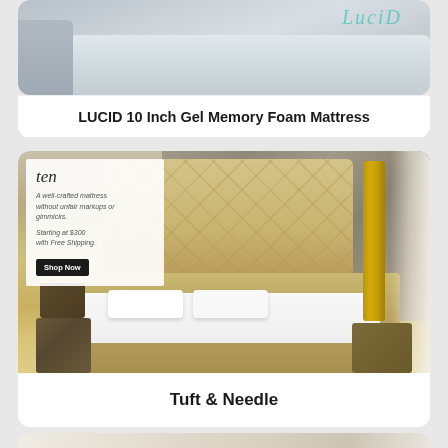[Figure (photo): Partial view of LUCID mattress with teal LUCID logo on white fabric mattress top, grey background]
LUCID 10 Inch Gel Memory Foam Mattress
[Figure (photo): Tuft & Needle (ten) mattress advertisement showing bedroom scene with beige tufted headboard, white bedding, vintage suitcases, with overlay showing brand text, description, price starting at $300 with free shipping, and Shop Now button]
Tuft & Needle
[Figure (photo): Partial view of another mattress product at bottom of page]